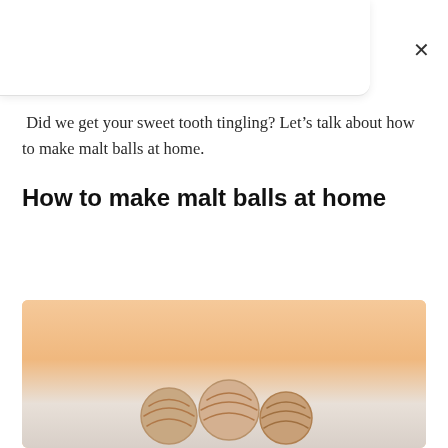delicious!
Did we get your sweet tooth tingling? Let’s talk about how to make malt balls at home.
How to make malt balls at home
[Figure (photo): Photo of malt balls candy, partially visible at the bottom of the page, with a warm peach/cream background]